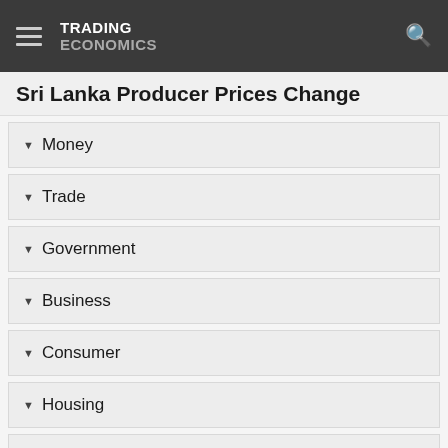TRADING ECONOMICS
Sri Lanka Producer Prices Change
Money
Trade
Government
Business
Consumer
Housing
Taxes